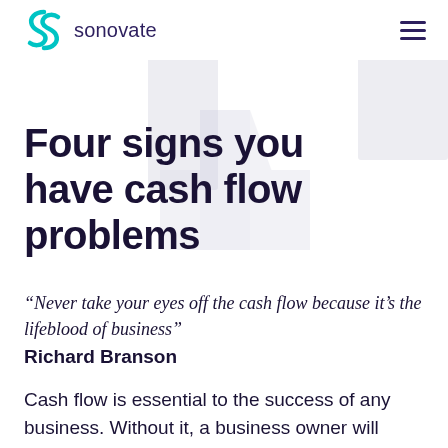sonovate
Four signs you have cash flow problems
“Never take your eyes off the cash flow because it’s the lifeblood of business” Richard Branson
Cash flow is essential to the success of any business. Without it, a business owner will struggle to manage the financial outgoings